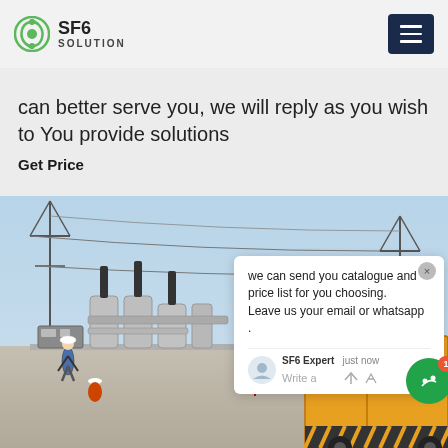SF6 SOLUTION
can better serve you, we will reply as you wish to You provide solutions
Get Price
[Figure (photo): Electrical substation with SF6 equipment, workers in hard hats, overhead transmission lines, and a yellow truck (XRAIV 0725) on the right side]
we can send you catalogue and price list for you choosing.
Leave us your email or whatsapp .
SF6 Expert   just now
Write a